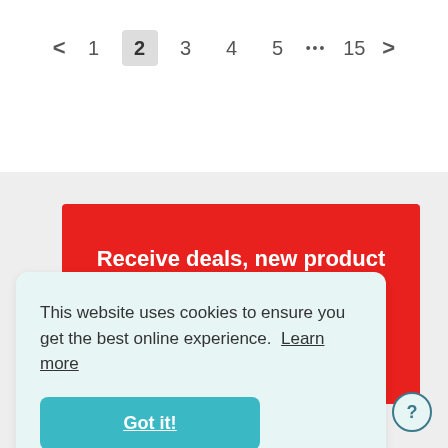[Figure (other): Pagination control showing pages: < 1 2 3 4 5 ... 15 >]
Receive deals, new product info & more
This website uses cookies to ensure you get the best online experience. Learn more
Got it!